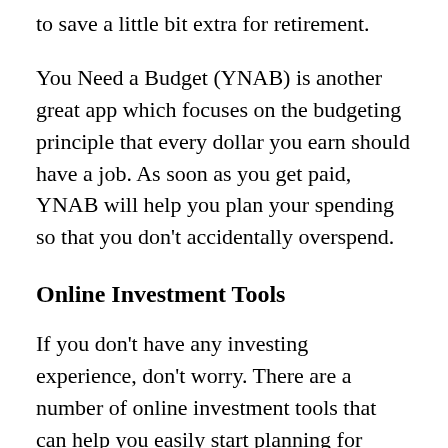to save a little bit extra for retirement.
You Need a Budget (YNAB) is another great app which focuses on the budgeting principle that every dollar you earn should have a job. As soon as you get paid, YNAB will help you plan your spending so that you don't accidentally overspend.
Online Investment Tools
If you don't have any investing experience, don't worry. There are a number of online investment tools that can help you easily start planning for retirement.